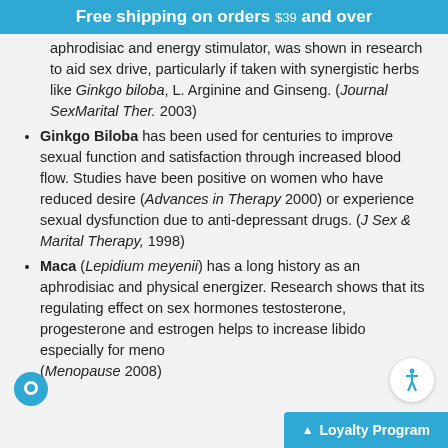Free shipping on orders $39 and over
aphrodisiac and energy stimulator, was shown in research to aid sex drive, particularly if taken with synergistic herbs like Ginkgo biloba, L. Arginine and Ginseng. (Journal SexMarital Ther. 2003)
Ginkgo Biloba has been used for centuries to improve sexual function and satisfaction through increased blood flow. Studies have been positive on women who have reduced desire (Advances in Therapy 2000) or experience sexual dysfunction due to anti-depressant drugs. (J Sex & Marital Therapy, 1998)
Maca (Lepidium meyenii) has a long history as an aphrodisiac and physical energizer. Research shows that its regulating effect on sex hormones testosterone, progesterone and estrogen helps to increase libido especially for meno... (Menopause 2008)